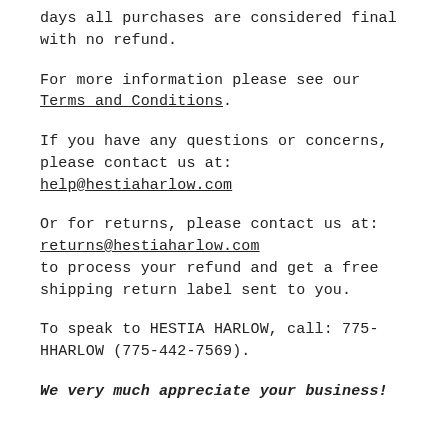days all purchases are considered final with no refund.
For more information please see our Terms and Conditions.
If you have any questions or concerns, please contact us at: help@hestiaharlow.com
Or for returns, please contact us at: returns@hestiaharlow.com to process your refund and get a free shipping return label sent to you.
To speak to HESTIA HARLOW, call: 775-HHARLOW (775-442-7569).
We very much appreciate your business!